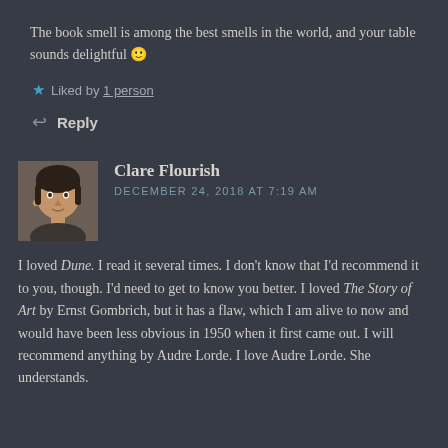The book smell is among the best smells in the world, and your table sounds delightful 🙂
★ Liked by 1 person
↩ Reply
Clare Flourish
DECEMBER 24, 2018 AT 7:19 AM
I loved Dune. I read it several times. I don't know that I'd recommend it to you, though. I'd need to get to know you better. I loved The Story of Art by Ernst Gombrich, but it has a flaw, which I am alive to now and would have been less obvious in 1950 when it first came out. I will recommend anything by Audre Lorde. I love Audre Lorde. She understands.